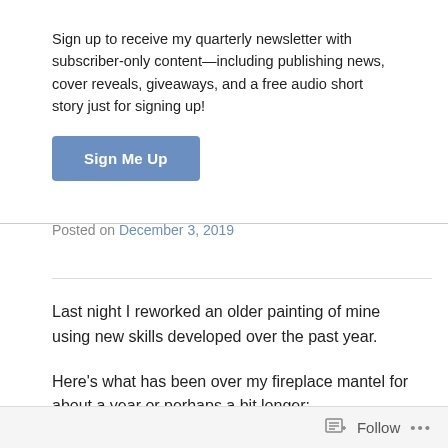Sign up to receive my quarterly newsletter with subscriber-only content—including publishing news, cover reveals, giveaways, and a free audio short story just for signing up!
Sign Me Up
Posted on December 3, 2019
Last night I reworked an older painting of mine using new skills developed over the past year.
Here's what has been over my fireplace mantel for about a year or perhaps a bit longer:
Follow ...